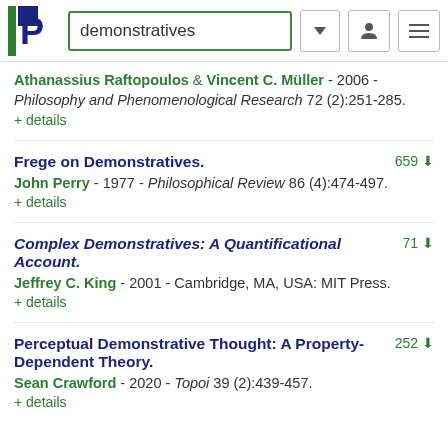demonstratives
Athanassius Raftopoulos & Vincent C. Müller - 2006 - Philosophy and Phenomenological Research 72 (2):251-285. + details
Frege on Demonstratives. 659
John Perry - 1977 - Philosophical Review 86 (4):474-497. + details
Complex Demonstratives: A Quantificational Account. 71
Jeffrey C. King - 2001 - Cambridge, MA, USA: MIT Press. + details
Perceptual Demonstrative Thought: A Property-Dependent Theory. 252
Sean Crawford - 2020 - Topoi 39 (2):439-457. + details